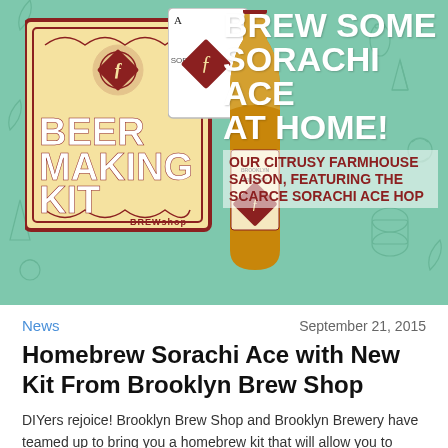[Figure (photo): Promotional banner image showing a Beer Making Kit box with ornate red and cream design, a playing card with diamond logo, a beer bottle of Sorachi Ace, and text overlays on a teal background with beer icons. Text reads: BREW SOME SORACHI ACE AT HOME! OUR CITRUSY FARMHOUSE SAISON, FEATURING THE SCARCE SORACHI ACE HOP]
News
September 21, 2015
Homebrew Sorachi Ace with New Kit From Brooklyn Brew Shop
DIYers rejoice! Brooklyn Brew Shop and Brooklyn Brewery have teamed up to bring you a homebrew kit that will allow you to make Sorachi Ace in your kitchen (or at least on that thing that [...]